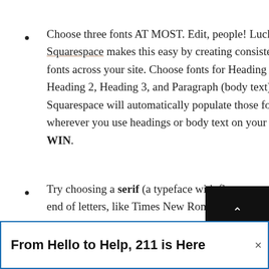Choose three fonts AT MOST. Edit, people! Luckily, Squarespace makes this easy by creating consistent fonts across your site. Choose fonts for Heading 1, Heading 2, Heading 3, and Paragraph (body text) and Squarespace will automatically populate those fonts wherever you use headings or body text on your site. WIN.
Try choosing a serif (a typeface with flourishes at the end of letters, like Times New Roman) and ...
[Figure (other): Black 'TOP' button with upward arrow in white text on black background, positioned at bottom right of content area]
From Hello to Help, 211 is Here